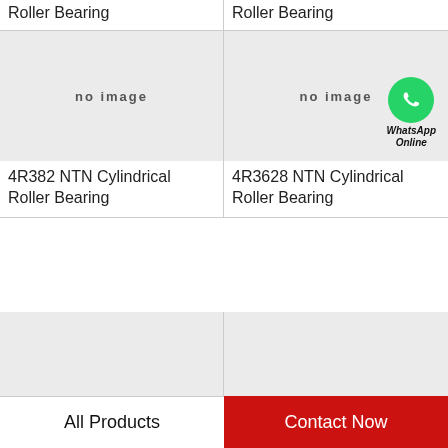Roller Bearing
Roller Bearing
[Figure (photo): No image placeholder for product]
[Figure (photo): No image placeholder for product with WhatsApp Online overlay]
4R382 NTN Cylindrical Roller Bearing
4R3628 NTN Cylindrical Roller Bearing
[Figure (photo): No image placeholder for product]
[Figure (photo): No image placeholder for product]
All Products
Contact Now